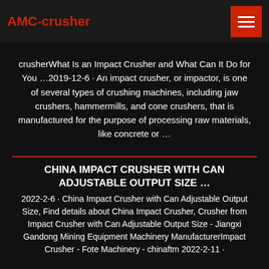AMC-crusher
crusherWhat Is an Impact Crusher and What Can It Do for You …2019-12-6 · An impact crusher, or impactor, is one of several types of crushing machines, including jaw crushers, hammermills, and cone crushers, that is manufactured for the purpose of processing raw materials, like concrete or …
CHINA IMPACT CRUSHER WITH CAN ADJUSTABLE OUTPUT SIZE …
2022-2-6 · China Impact Crusher with Can Adjustable Output Size, Find details about China Impact Crusher, Crusher from Impact Crusher with Can Adjustable Output Size - Jiangxi Gandong Mining Equipment Machinery ManufacturerImpact Crusher - Fote Machinery - chinaftm 2022-2-11 ·